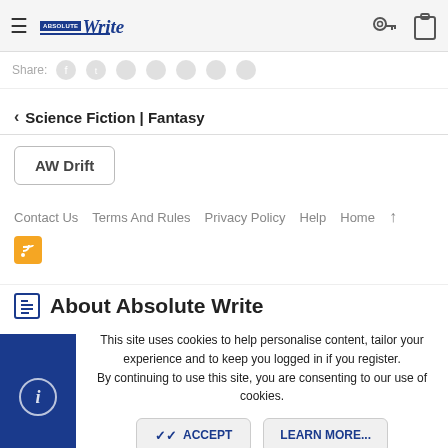Absolute Write — navigation bar with hamburger menu, logo, key and clipboard icons
Share: [social icons]
< Science Fiction | Fantasy
AW Drift
Contact Us   Terms And Rules   Privacy Policy   Help   Home   ↑
[RSS icon]
About Absolute Write
This site uses cookies to help personalise content, tailor your experience and to keep you logged in if you register. By continuing to use this site, you are consenting to our use of cookies.
ACCEPT   LEARN MORE...